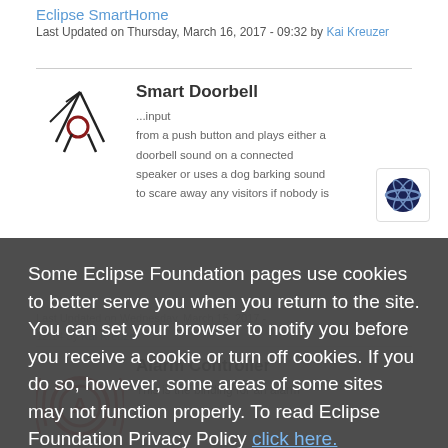Eclipse SmartHome
Last Updated on Thursday, March 16, 2017 - 09:32 by Kai Kreuzer
Smart Doorbell
...input from a push button and plays either a doorbell sound on a connected speaker or uses a dog barking sound to scare away any visitors if nobody is home...
Last Updated on Wednesday, March 15, 2017 - 12:14 by Kai Kreuzer
Some Eclipse Foundation pages use cookies to better serve you when you return to the site. You can set your browser to notify you before you receive a cookie or turn off cookies. If you do so, however, some areas of some sites may not function properly. To read Eclipse Foundation Privacy Policy click here.
Decline
Allow cookies
Alarm Controller
This is the binding for an alarm